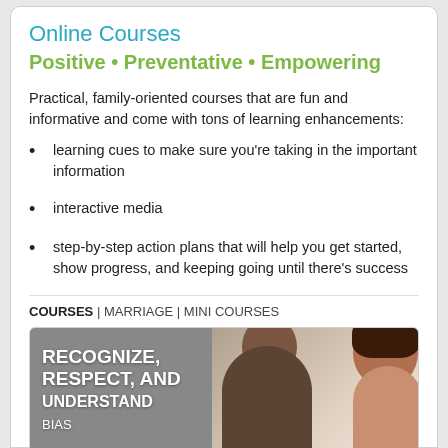Online Courses
Positive • Preventative • Empowering
Practical, family-oriented courses that are fun and informative and come with tons of learning enhancements:
learning cues to make sure you're taking in the important information
interactive media
step-by-step action plans that will help you get started, show progress, and keeping going until there's success
COURSES | MARRIAGE | MINI COURSES
[Figure (photo): Photo of a man and woman facing each other with overlay text reading RECOGNIZE, RESPECT, AND UNDERSTAND on a gray background panel]